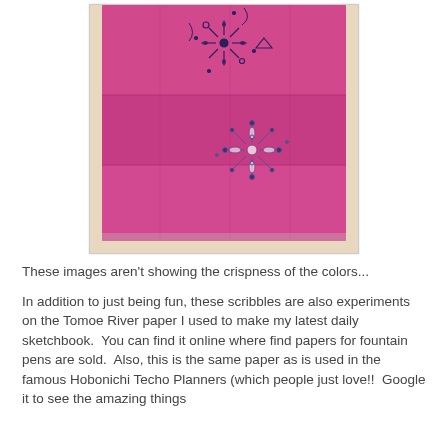[Figure (photo): Photo of a pink/magenta-colored piece of fabric or paper with blue snowflake/mandala-style pen drawings on it, photographed on a light background.]
These images aren't showing the crispness of the colors...
In addition to just being fun, these scribbles are also experiments on the Tomoe River paper I used to make my latest daily sketchbook.  You can find it online where find papers for fountain pens are sold.  Also, this is the same paper as is used in the famous Hobonichi Techo Planners (which people just love!!  Google it to see the amazing things